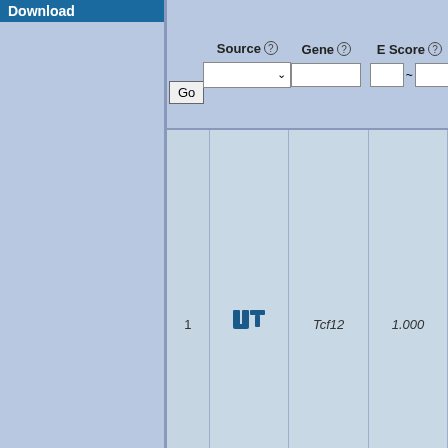Download
|  | Source | Gene | E Score |
| --- | --- | --- | --- |
| 1 | [JT icon] | Tcf12 | 1.000 |
| 2 | [JT icon] | Tcf1l... | 1.000 |